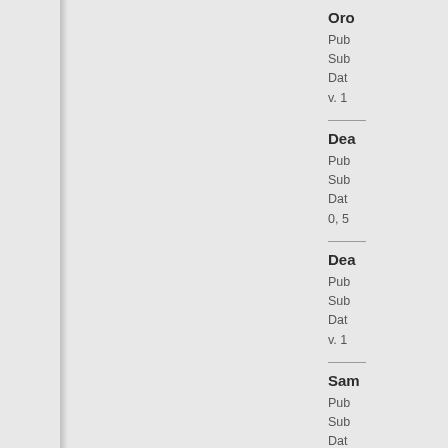Ord
Pub
Sub
Dat
v. 1
Dea
Pub
Sub
Dat
0, 5
Dea
Pub
Sub
Dat
v. 1
Sam
Pub
Sub
Dat